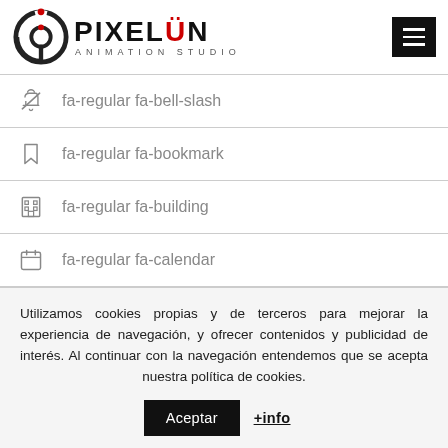[Figure (logo): Pixelon Animation Studio logo with circular icon and text]
fa-regular fa-bell-slash
fa-regular fa-bookmark
fa-regular fa-building
fa-regular fa-calendar
Utilizamos cookies propias y de terceros para mejorar la experiencia de navegación, y ofrecer contenidos y publicidad de interés. Al continuar con la navegación entendemos que se acepta nuestra política de cookies.
Aceptar +info